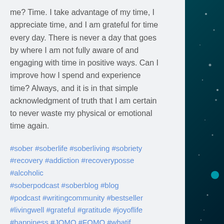me? Time. I take advantage of my time, I appreciate time, and I am grateful for time every day. There is never a day that goes by where I am not fully aware of and engaging with time in positive ways. Can I improve how I spend and experience time? Always, and it is in that simple acknowledgment of truth that I am certain to never waste my physical or emotional time again.
#sober #soberlife #soberliving #sobriety #recovery #addiction #recoveryposse #alcoholic #soberpodcast #soberblog #blog #podcast #writingcommunity #bestseller #livingwell #grateful #gratitude #joyoflife #happiness #JOMO #FOMO #whatif #goals